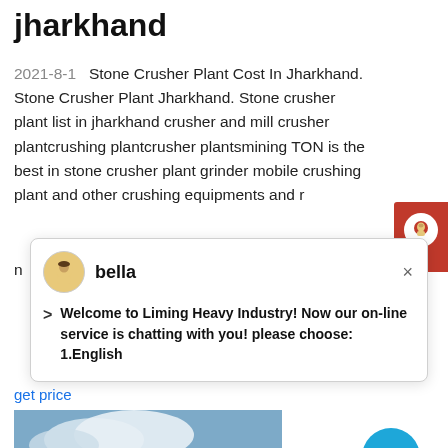jharkhand
2021-8-1   Stone Crusher Plant Cost In Jharkhand. Stone Crusher Plant Jharkhand. Stone crusher plant list in jharkhand crusher and mill crusher plantcrushing plantcrusher plantsmining TON is the best in stone crusher plant grinder mobile crushing plant and other crushing equipments and r
bella
Welcome to Liming Heavy Industry! Now our on-line service is chatting with you! please choose: 1.English
get price
[Figure (photo): Stone crusher plant machinery at a mining/quarry site with conveyor belts and industrial equipment against a blue sky background]